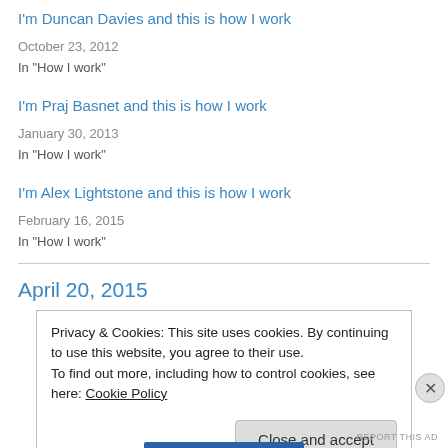I'm Duncan Davies and this is how I work
October 23, 2012
In "How I work"
I'm Praj Basnet and this is how I work
January 30, 2013
In "How I work"
I'm Alex Lightstone and this is how I work
February 16, 2015
In "How I work"
April 20, 2015
Privacy & Cookies: This site uses cookies. By continuing to use this website, you agree to their use.
To find out more, including how to control cookies, see here: Cookie Policy